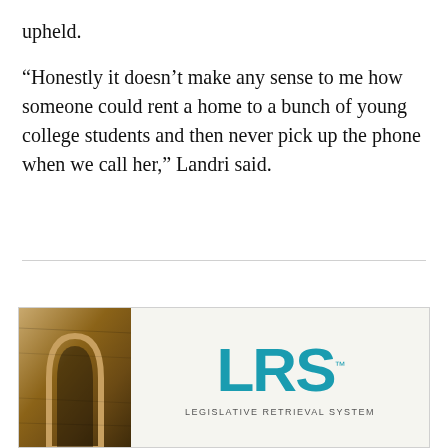upheld.
“Honestly it doesn’t make any sense to me how someone could rent a home to a bunch of young college students and then never pick up the phone when we call her,” Landri said.
[Figure (logo): LRS Legislative Retrieval System logo with an architectural photo (arched wooden structure) on the left side]